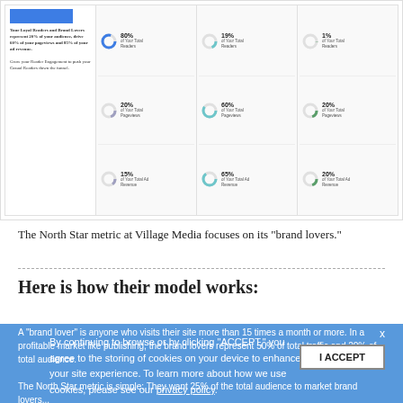[Figure (infographic): Dashboard infographic showing reader segments with donut charts: segment columns showing percentages of Total Readers, Pageviews, and Ad Revenue. Left panel shows text about Loyal Readers and Brand Lovers representing 20% of audience, driving 60% of pageviews and 85% of ad revenue. Columns show: 80%/20%/15%, 19%/60%/65%, 1%/20%/20%.]
The North Star metric at Village Media focuses on its "brand lovers."
Here is how their model works:
A "brand lover" is anyone who visits their site more than 15 times a month or more. In a profitable market like publishing, the brand lovers represent 50% of total traffic and 20% of total audience.
The North Star metric is simple: They want 25% of the total audience to market brand lovers...
Many titles measure for some kind of DAU (daily active
By continuing to browse or by clicking "ACCEPT," you agree to the storing of cookies on your device to enhance your site experience. To learn more about how we use cookies, please see our privacy policy.